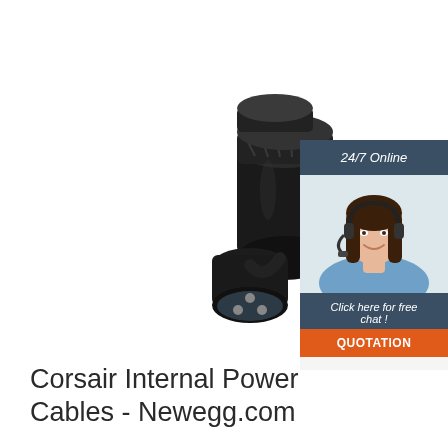[Figure (photo): Black electrical connector/adapter with cylindrical body and exposed 3-pin plug end, photographed on white background]
[Figure (infographic): Advertisement banner showing a woman with headset smiling, with dark blue header '24/7 Online', text 'Click here for free chat!', and orange button labeled 'QUOTATION']
Corsair Internal Power Cables - Newegg.com